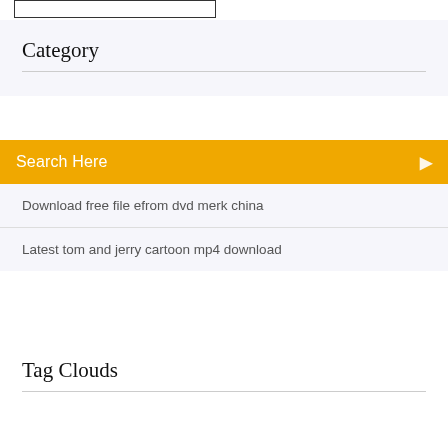[Figure (other): Empty rectangle/box outline at top left]
Category
Search Here
Download free file efrom dvd merk china
Latest tom and jerry cartoon mp4 download
Tag Clouds